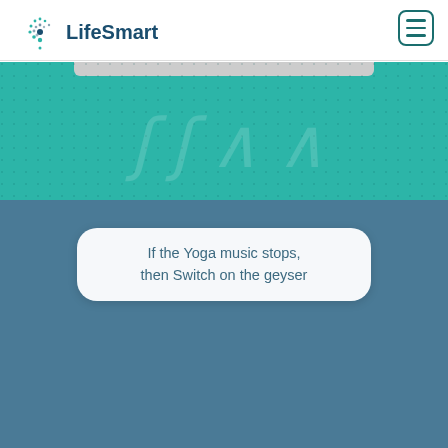[Figure (logo): LifeSmart logo with dotted arc pattern and company name]
[Figure (screenshot): Teal/turquoise section showing top of a device or app interface with decorative symbols]
If the Yoga music stops, then Switch on the geyser
[Figure (screenshot): Blue-grey background section of the LifeSmart app interface]